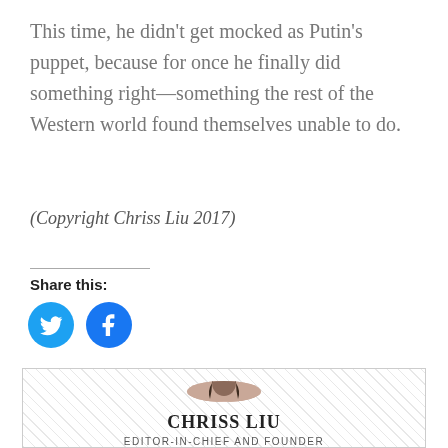This time, he didn't get mocked as Putin's puppet, because for once he finally did something right—something the rest of the Western world found themselves unable to do.
(Copyright Chriss Liu 2017)
Share this:
[Figure (illustration): Two circular social media share buttons: Twitter (blue bird icon) and Facebook (blue f icon)]
[Figure (photo): Circular author avatar photo of Chriss Liu]
CHRISS LIU
EDITOR-IN-CHIEF AND FOUNDER